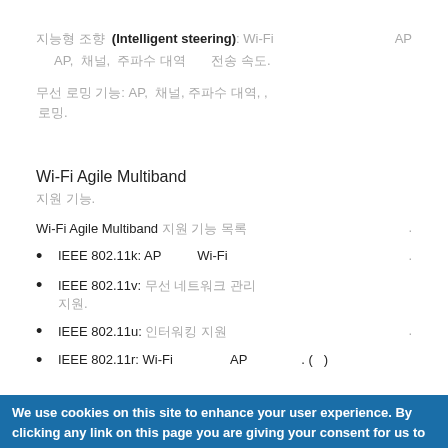지능형 조향 (Intelligent steering): Wi-Fi AP AP, 채널, 주파수 대역, 전송 속도.
무선 로밍 기능: AP, 채널, 주파수 대역, 전송 속도, 로밍.
Wi-Fi Agile Multiband
지원 기능.
Wi-Fi Agile Multiband 지원 기능 목록.
IEEE 802.11k: AP 이웃 Wi-Fi 리포트 지원.
IEEE 802.11v: 무선 네트워크 관리 지원.
IEEE 802.11u: 인터워킹 지원.
IEEE 802.11r: Wi-Fi AP 로밍 지원 (패스트 전환)
We use cookies on this site to enhance your user experience. By clicking any link on this page you are giving your consent for us to